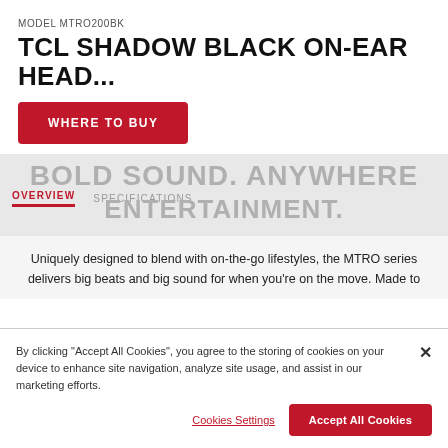MODEL MTRO200BK
TCL SHADOW BLACK ON-EAR HEAD...
WHERE TO BUY
BOLD SOUND. ANYWHERE ENTERTAINMENT.
OVERVIEW   SPECIFICATIONS
Uniquely designed to blend with on-the-go lifestyles, the MTRO series delivers big beats and big sound for when you’re on the move. Made to
By clicking “Accept All Cookies”, you agree to the storing of cookies on your device to enhance site navigation, analyze site usage, and assist in our marketing efforts.
Cookies Settings
Accept All Cookies